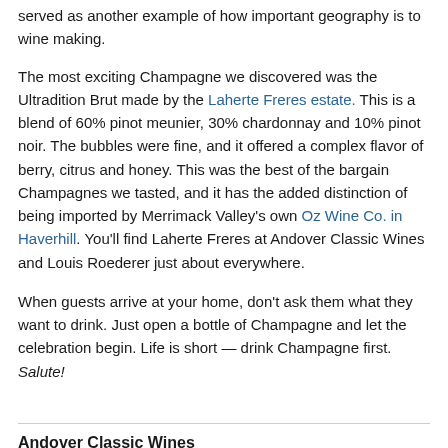served as another example of how important geography is to wine making.
The most exciting Champagne we discovered was the Ultradition Brut made by the Laherte Freres estate. This is a blend of 60% pinot meunier, 30% chardonnay and 10% pinot noir. The bubbles were fine, and it offered a complex flavor of berry, citrus and honey. This was the best of the bargain Champagnes we tasted, and it has the added distinction of being imported by Merrimack Valley's own Oz Wine Co. in Haverhill. You'll find Laherte Freres at Andover Classic Wines and Louis Roederer just about everywhere.
When guests arrive at your home, don't ask them what they want to drink. Just open a bottle of Champagne and let the celebration begin. Life is short — drink Champagne first. Salute!
Andover Classic Wines